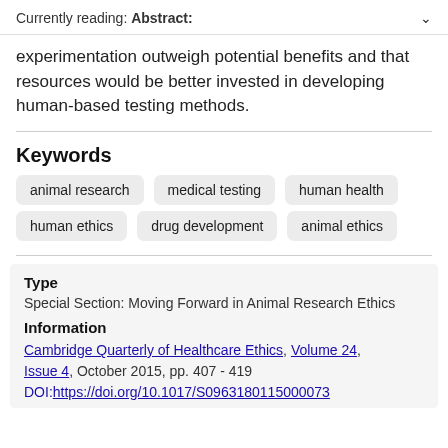Currently reading: Abstract:
experimentation outweigh potential benefits and that resources would be better invested in developing human-based testing methods.
Keywords
animal research
medical testing
human health
human ethics
drug development
animal ethics
Type
Special Section: Moving Forward in Animal Research Ethics
Information
Cambridge Quarterly of Healthcare Ethics, Volume 24, Issue 4, October 2015, pp. 407 - 419
DOI: https://doi.org/10.1017/S0963180115000073